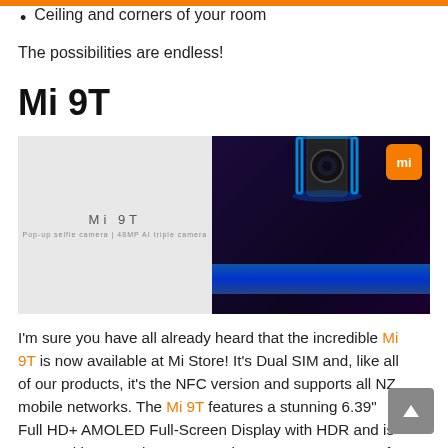Ceiling and corners of your room
The possibilities are endless!
Mi 9T
[Figure (photo): Mi 9T promotional image showing the pop-up selfie camera extending from the phone, with the Mi logo in orange in the top right corner. Left side shows text 'Mi 9T' and 'Pop-up selfie camera | 48MP AI triple camera' on a light background.]
I'm sure you have all already heard that the incredible Mi 9T is now available at Mi Store! It's Dual SIM and, like all of our products, it's the NFC version and supports all NZ mobile networks. The Mi 9T features a stunning 6.39" Full HD+ AMOLED Full-Screen Display with HDR and is powered by a Qualcomm Snapdragon 730 processor. If you're a big mobile gamer, Mi's updated Game Turbo mode gives a massive boost to game sensitivity and responsiveness, as well as other customisable